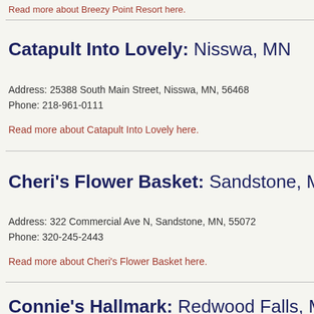Read more about Breezy Point Resort here.
Catapult Into Lovely: Nisswa, MN
Address: 25388 South Main Street, Nisswa, MN, 56468
Phone: 218-961-0111
Read more about Catapult Into Lovely here.
Cheri's Flower Basket: Sandstone, MN
Address: 322 Commercial Ave N, Sandstone, MN, 55072
Phone: 320-245-2443
Read more about Cheri's Flower Basket here.
Connie's Hallmark: Redwood Falls, MN